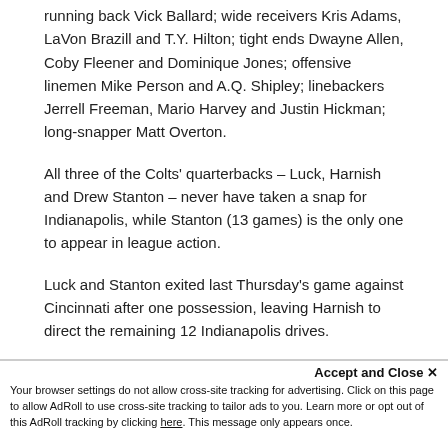running back Vick Ballard; wide receivers Kris Adams, LaVon Brazill and T.Y. Hilton; tight ends Dwayne Allen, Coby Fleener and Dominique Jones; offensive linemen Mike Person and A.Q. Shipley; linebackers Jerrell Freeman, Mario Harvey and Justin Hickman; long-snapper Matt Overton.
All three of the Colts' quarterbacks – Luck, Harnish and Drew Stanton – never have taken a snap for Indianapolis, while Stanton (13 games) is the only one to appear in league action.
Luck and Stanton exited last Thursday's game against Cincinnati after one possession, leaving Harnish to direct the remaining 12 Indianapolis drives.
The native Hoosier(al nineol) 15 passes fo
Your browser settings do not allow cross-site tracking for advertising. Click on this page to allow AdRoll to use cross-site tracking to tailor ads to you. Learn more or opt out of this AdRoll tracking by clicking here. This message only appears once.